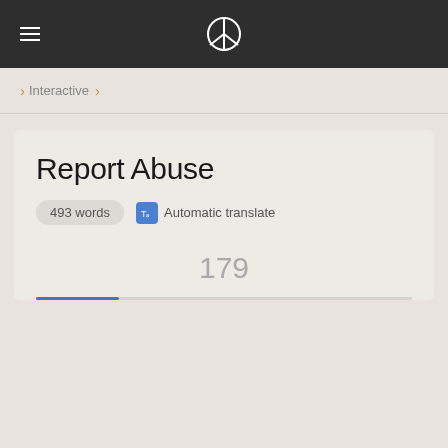Menu | Peace icon logo
Interactive
Report Abuse
493 words  Automatic translate
179